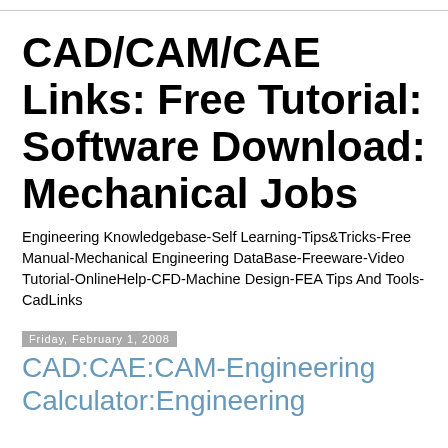CAD/CAM/CAE Links: Free Tutorial: Software Download: Mechanical Jobs
Engineering Knowledgebase-Self Learning-Tips&Tricks-Free Manual-Mechanical Engineering DataBase-Freeware-Video Tutorial-OnlineHelp-CFD-Machine Design-FEA Tips And Tools-CadLinks
Friday, February 1, 2008
CAD:CAE:CAM-Engineering Calculator:Engineering